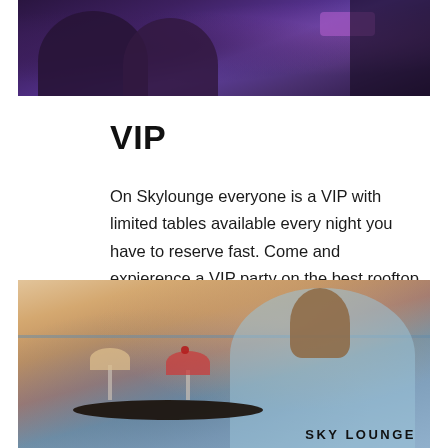[Figure (photo): Photo of people at a bar or lounge with purple/dim lighting, viewed from behind, with a badge/label visible in the upper right area]
VIP
On Skylounge everyone is a VIP with limited tables available every night you have to reserve fast. Come and expierence a VIP party on the best rooftop bar of Spain.
[Figure (photo): Photo of a server holding a tray with cocktail glasses (margaritas), viewed from behind, with the sea and sunset sky visible in the background, and 'SKY LOUNGE' text visible at the bottom right]